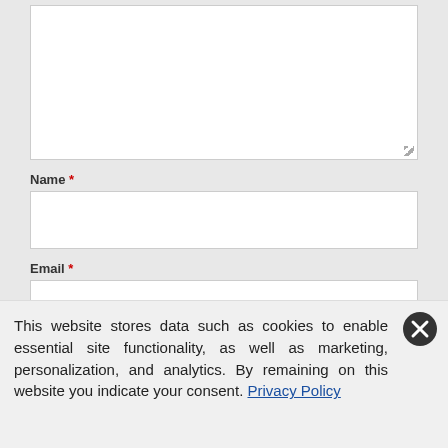[Figure (screenshot): Web form textarea (top portion cut off), showing a large white text area input box with a resize handle in the bottom-right corner.]
Name *
[Figure (screenshot): Name input field — a white rectangular text input box.]
Email *
[Figure (screenshot): Email input field — a white rectangular text input box.]
POST COMMENT
This website stores data such as cookies to enable essential site functionality, as well as marketing, personalization, and analytics. By remaining on this website you indicate your consent. Privacy Policy